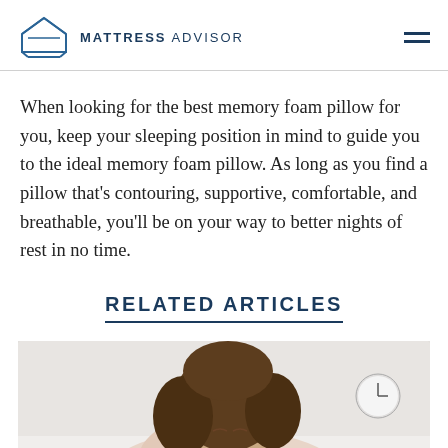MATTRESS ADVISOR
When looking for the best memory foam pillow for you, keep your sleeping position in mind to guide you to the ideal memory foam pillow. As long as you find a pillow that’s contouring, supportive, comfortable, and breathable, you’ll be on your way to better nights of rest in no time.
RELATED ARTICLES
[Figure (photo): A woman with brown hair sleeping, eyes closed, resting on a pillow in a bedroom setting with a clock visible in the background.]